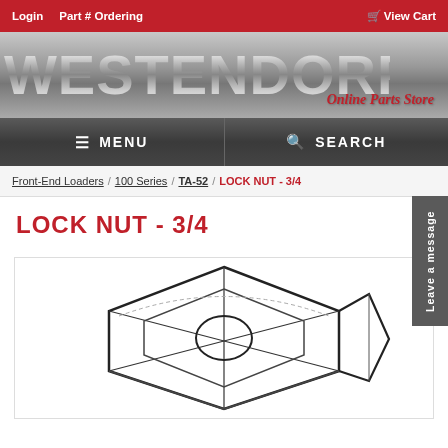Login  Part # Ordering  View Cart
[Figure (logo): Westendorf Online Parts Store logo with metallic lettering]
MENU  SEARCH
Front-End Loaders / 100 Series / TA-52 / LOCK NUT - 3/4
LOCK NUT - 3/4
[Figure (illustration): Technical line drawing of a 3/4 lock nut, showing hexagonal top view and side profile]